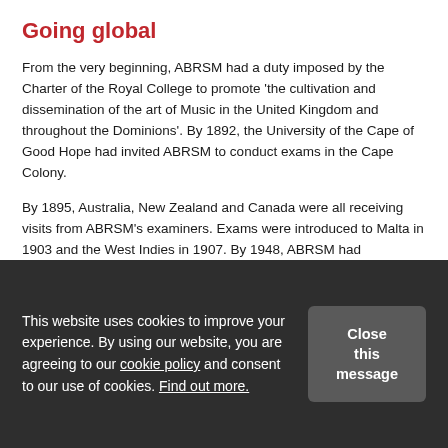Going global
From the very beginning, ABRSM had a duty imposed by the Charter of the Royal College to promote 'the cultivation and dissemination of the art of Music in the United Kingdom and throughout the Dominions'. By 1892, the University of the Cape of Good Hope had invited ABRSM to conduct exams in the Cape Colony.
By 1895, Australia, New Zealand and Canada were all receiving visits from ABRSM's examiners. Exams were introduced to Malta in 1903 and the West Indies in 1907. By 1948, ABRSM had representatives in South Africa, India, Pakistan, Ceylon (now Sri Lanka), Malta, Rhodesia (now Zimbabwe), Cyprus, Singapore and Kenya.
Exams offered by ABRSM rapidly grew in popularity during the
This website uses cookies to improve your experience. By using our website, you are agreeing to our cookie policy and consent to our use of cookies. Find out more.
Close this message